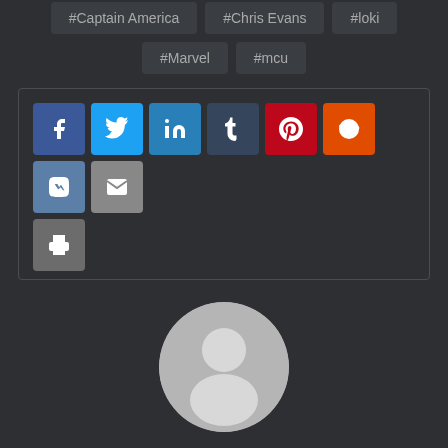#Captain America
#Chris Evans
#loki
#Marvel
#mcu
[Figure (other): Social share buttons: Facebook, Twitter, LinkedIn, Tumblr, Pinterest, Reddit, VK, Email, Print]
[Figure (photo): Generic user avatar circle with silhouette icon, grey background]
Parth Suneja
The Force is strong with this one.